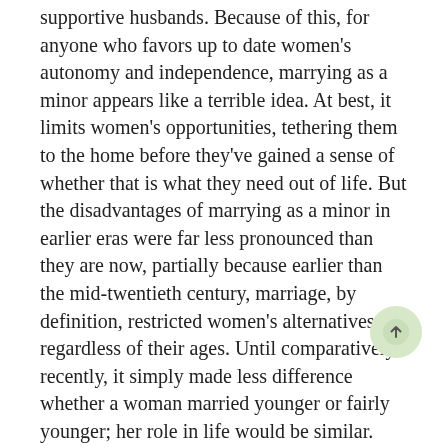supportive husbands. Because of this, for anyone who favors up to date women's autonomy and independence, marrying as a minor appears like a terrible idea. At best, it limits women's opportunities, tethering them to the home before they've gained a sense of whether that is what they need out of life. But the disadvantages of marrying as a minor in earlier eras were far less pronounced than they are now, partially because earlier than the mid-twentieth century, marriage, by definition, restricted women's alternatives regardless of their ages. Until comparatively recently, it simply made less difference whether a woman married younger or fairly younger; her role in life would be similar.
Acquiring Find A Bride